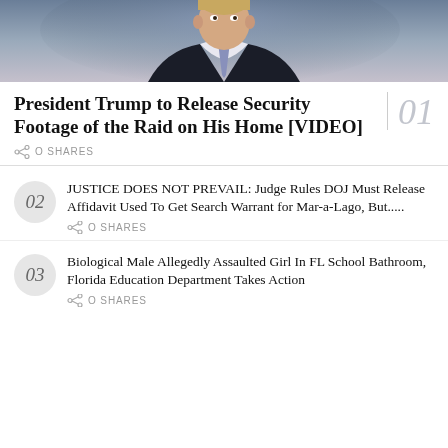[Figure (photo): Cropped photo of a man in a dark suit and tie, news-anchor style, upper body visible from chest up]
President Trump to Release Security Footage of the Raid on His Home [VIDEO]
0 SHARES
JUSTICE DOES NOT PREVAIL: Judge Rules DOJ Must Release Affidavit Used To Get Search Warrant for Mar-a-Lago, But.....
0 SHARES
Biological Male Allegedly Assaulted Girl In FL School Bathroom, Florida Education Department Takes Action
0 SHARES